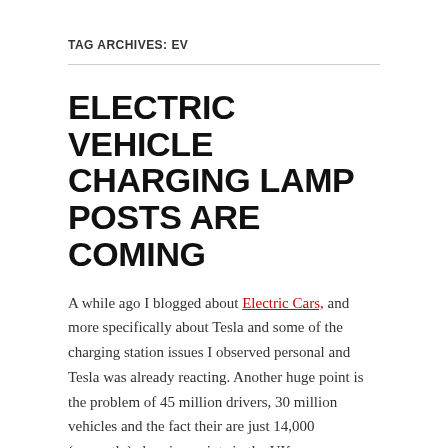TAG ARCHIVES: EV
ELECTRIC VEHICLE CHARGING LAMP POSTS ARE COMING
A while ago I blogged about Electric Cars, and more specifically about Tesla and some of the charging station issues I observed personal and Tesla was already reacting. Another huge point is the problem of 45 million drivers, 30 million vehicles and the fact their are just 14,000 (currently) charging points in the UK.